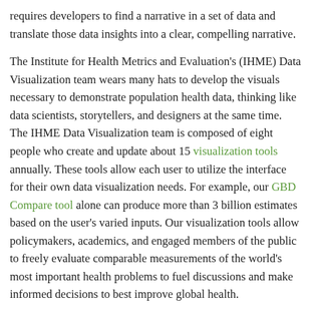requires developers to find a narrative in a set of data and translate those data insights into a clear, compelling narrative.
The Institute for Health Metrics and Evaluation's (IHME) Data Visualization team wears many hats to develop the visuals necessary to demonstrate population health data, thinking like data scientists, storytellers, and designers at the same time. The IHME Data Visualization team is composed of eight people who create and update about 15 visualization tools annually. These tools allow each user to utilize the interface for their own data visualization needs. For example, our GBD Compare tool alone can produce more than 3 billion estimates based on the user's varied inputs. Our visualization tools allow policymakers, academics, and engaged members of the public to freely evaluate comparable measurements of the world's most important health problems to fuel discussions and make informed decisions to best improve global health.
Recently, the IHME Data Visualization team has worked on Financing Global Health, Vaccine Hesitancy by Zip code, and COVID-19 visualization tools. The team works on producing visualizations on a